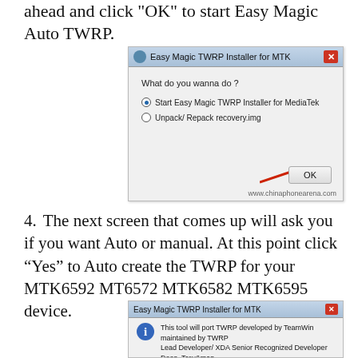ahead and click “OK” to start Easy Magic Auto TWRP.
[Figure (screenshot): Easy Magic TWRP Installer for MTK dialog box asking 'What do you wanna do?' with radio buttons: 'Start Easy Magic TWRP Installer for MediaTek' (selected) and 'Unpack/ Repack recovery.img', and an OK button with a red arrow pointing to it. Watermark: www.chinaphonearena.com]
4. The next screen that comes up will ask you if you want Auto or manual. At this point click “Yes” to Auto create the TWRP for your MTK6592 MT6572 MTK6582 MTK6595 device.
[Figure (screenshot): Easy Magic TWRP Installer for MTK dialog with info icon and text beginning 'This tool will port TWRP developed by TeamWin maintained by TWRP Lead Developer/ XDA Senior Recognized Developer Dees_Troy&man' (cut off)]